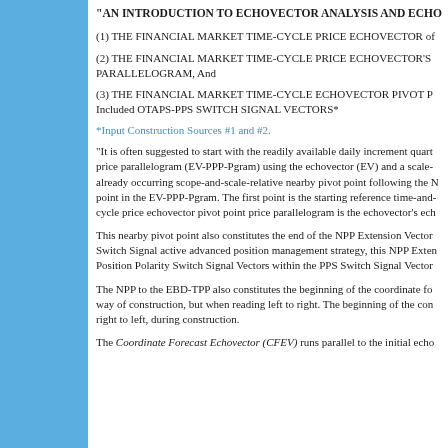"AN INTRODUCTION TO ECHOVECTOR ANALYSIS AND ECHOVECTOR PIVOT POINT PRICE PARALLELOGRAM METHODOLOGY"
(1) THE FINANCIAL MARKET TIME-CYCLE PRICE ECHOVECTOR of
(2) THE FINANCIAL MARKET TIME-CYCLE PRICE ECHOVECTOR'S PARALLELOGRAM, And
(3) THE FINANCIAL MARKET TIME-CYCLE ECHOVECTOR PIVOT POINT PRICE PARALLELOGRAM, Included OTAPS-PPS SWITCH SIGNAL VECTORS*
*Input Construction Sources #1 and #2.
"It is often suggested to start with the readily available daily increment quarterly price parallelogram (EV-PPP-Pgram) using the echovector (EV) and a scale-already occurring scope-and-scale-relative nearby pivot point following the NPP point in the EV-PPP-Pgram. The first point is the starting reference time-and-cycle price echovector pivot point price parallelogram is the echovector's ech
This nearby pivot point also constitutes the end of the NPP Extension Vector Switch Signal active advanced position management strategy, this NPP Extension Position Polarity Switch Signal Vectors within the PPS Switch Signal Vector
The NPP to the EBD-TPP also constitutes the beginning of the coordinate for way of construction, but when reading left to right. The beginning of the coordinate right to left, during construction.
The Coordinate Forecast Echovector (CFEV) runs parallel to the initial echo